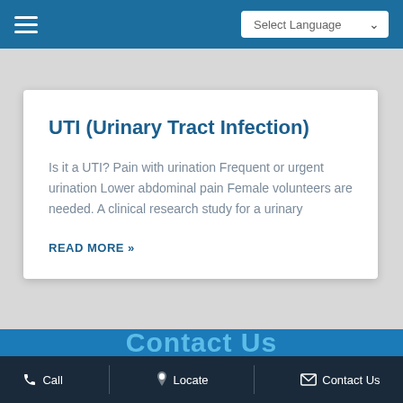UTI (Urinary Tract Infection) — Select Language
UTI (Urinary Tract Infection)
Is it a UTI? Pain with urination Frequent or urgent urination Lower abdominal pain Female volunteers are needed. A clinical research study for a urinary
READ MORE »
« Previous  1  2  Next »
Contact Us
Call  |  Locate  |  Contact Us